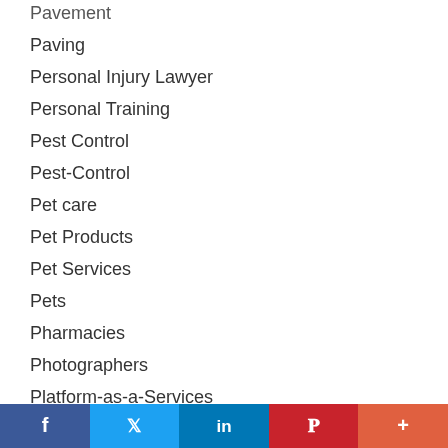Pavement
Paving
Personal Injury Lawyer
Personal Training
Pest Control
Pest-Control
Pet care
Pet Products
Pet Services
Pets
Pharmacies
Photographers
Platform-as-a-Services
Plumbing